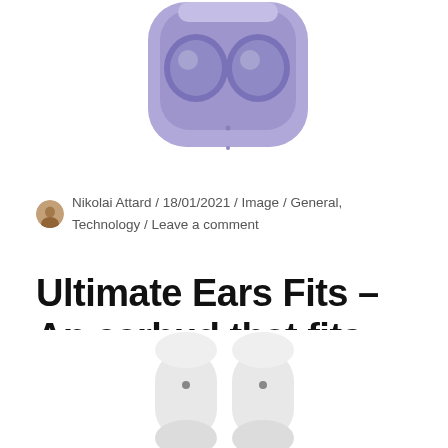[Figure (photo): Purple wireless earbuds in an open charging case, viewed from above. The case is a rounded square shape in lavender/violet color with two metallic earbuds inside.]
Nikolai Attard / 18/01/2021 / Image / General, Technology / Leave a comment
Ultimate Ears Fits – An earbud that fits any ear
[Figure (photo): Two white wireless earbuds standing upright at the bottom of the page, showing the earbud tips with small sensor dots.]